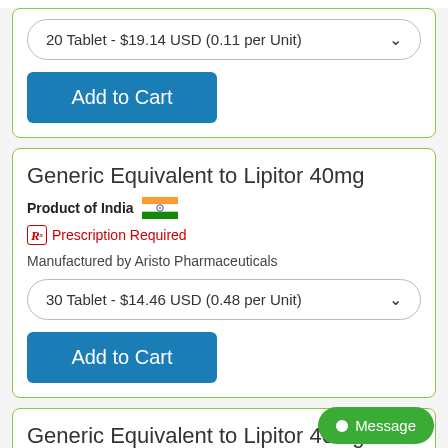20 Tablet - $19.14 USD (0.11 per Unit)
Add to Cart
Generic Equivalent to Lipitor 40mg
Product of India
Prescription Required
Manufactured by Aristo Pharmaceuticals
30 Tablet - $14.46 USD (0.48 per Unit)
Add to Cart
Generic Equivalent to Lipitor 40mg
Product of United States
Prescription Required
Manufactured by USA Various Generics
Message